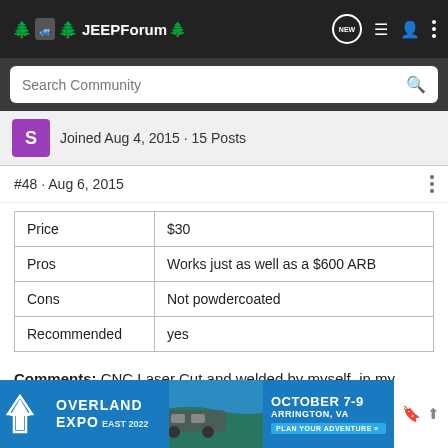JEEPForum
Search Community
Joined Aug 4, 2015 · 15 Posts
#48 · Aug 6, 2015
| Price | $30 |
| Pros | Works just as well as a $600 ARB |
| Cons | Not powdercoated |
| Recommended | yes |
Comments: CNC Laser Cut and welded by myself, in my garage, with my tools
[Figure (infographic): Overland Expo East 2022 advertisement banner: October 7-9, Arrington, VA, Plan Your Adventure]